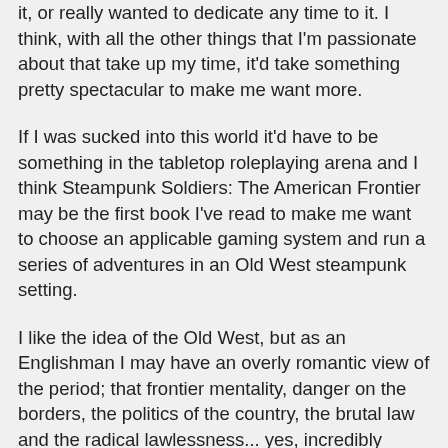it, or really wanted to dedicate any time to it. I think, with all the other things that I'm passionate about that take up my time, it'd take something pretty spectacular to make me want more.
If I was sucked into this world it'd have to be something in the tabletop roleplaying arena and I think Steampunk Soldiers: The American Frontier may be the first book I've read to make me want to choose an applicable gaming system and run a series of adventures in an Old West steampunk setting.
I like the idea of the Old West, but as an Englishman I may have an overly romantic view of the period; that frontier mentality, danger on the borders, the politics of the country, the brutal law and the radical lawlessness... yes, incredibly inaccurate historically but I'm not looking for accuracy in a roleplaying game like this, I'm looking for adventure. Running a straightforward Western RPG may not be right up my street, but add steampunk contraptions, an alternative American history and a couple of glorious Alamo Fortified Suits... seriously, go to page 31 and I guarantee that as a